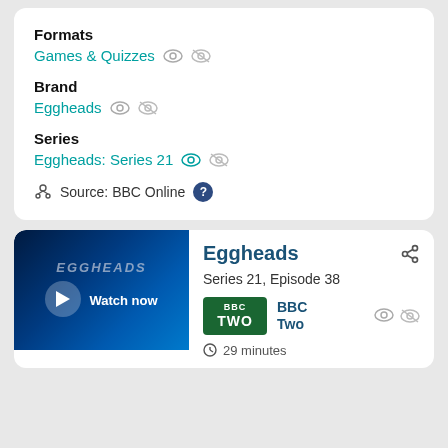Formats
Games & Quizzes
Brand
Eggheads
Series
Eggheads: Series 21
Source: BBC Online
[Figure (screenshot): Eggheads TV show thumbnail with Watch now button on dark blue background]
Eggheads
Series 21, Episode 38
BBC Two
29 minutes